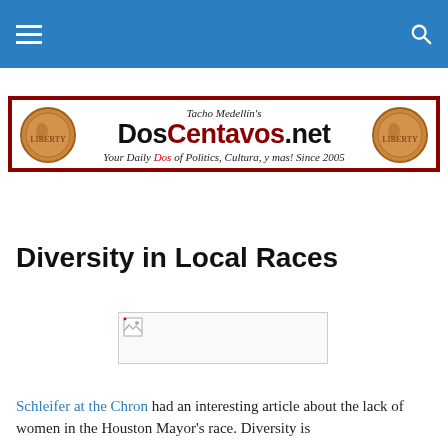DosCentavos.net navigation bar
[Figure (logo): DosCentavos.net logo banner. Shows 'Tacho Medellin's' in italic above large bold text 'DosCentavos.net' with two penny coin images on either side. Tagline reads 'Your Daily Dos of Politics, Cultura, y mas! Since 2005']
Diversity in Local Races
[Figure (photo): Broken/missing image placeholder]
Schleifer at the Chron had an interesting article about the lack of women in the Houston Mayor's race. Diversity is